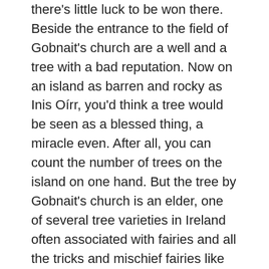there's little luck to be won there. Beside the entrance to the field of Gobnait's church are a well and a tree with a bad reputation. Now on an island as barren and rocky as Inis Oírr, you'd think a tree would be seen as a blessed thing, a miracle even. After all, you can count the number of trees on the island on one hand. But the tree by Gobnait's church is an elder, one of several tree varieties in Ireland often associated with fairies and all the tricks and mischief fairies like to get up to. Worse, Gobnait's tree is actually a twin elder, two trickster trees grown into one. Double the trouble.
As with Caomhán's church site, there are graves at Gobnait's church, or maybe they're outdoor altars—no one can decide for sure. There are also the remains of a clochán, a very small stone hut that must have kept some sacred or solitary-loving soul on the island out of